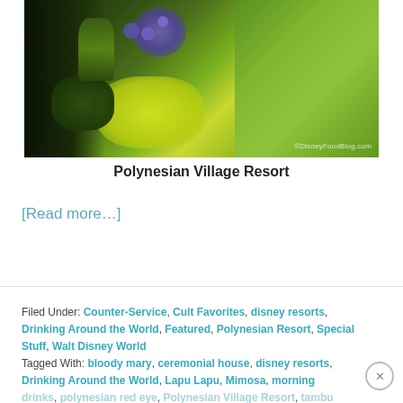[Figure (photo): Outdoor garden photo showing tropical plants with purple flowers, yellow-green foliage, and a green lawn. Watermark reads ©DisneyFoodBlog.com]
Polynesian Village Resort
[Read more…]
Filed Under: Counter-Service, Cult Favorites, disney resorts, Drinking Around the World, Featured, Polynesian Resort, Special Stuff, Walt Disney World
Tagged With: bloody mary, ceremonial house, disney resorts, Drinking Around the World, Lapu Lapu, Mimosa, morning drinks, polynesian red eye, Polynesian Village Resort, tambu lounge c, Walt Disney World, warped hula hoop